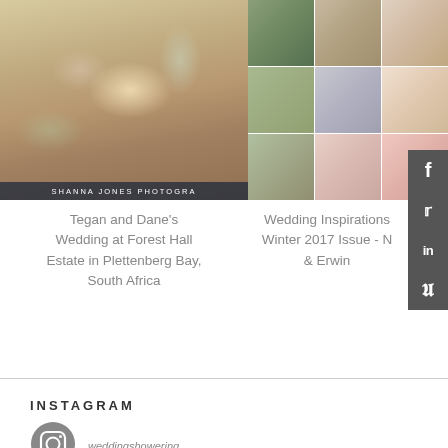[Figure (photo): Floral wedding table centerpiece with candles and glassware, Shanna Jones Photography watermark at bottom]
[Figure (photo): Collage of wedding photos including ceremony, reception table, wedding cake, and couple portrait]
Tegan and Dane's Wedding at Forest Hall Estate in Plettenberg Bay, South Africa
Wedding Inspirations Winter 2017 Issue - N & Erwin
INSTAGRAM
weddingshowering